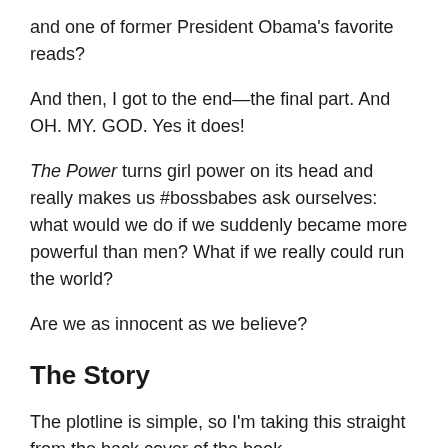and one of former President Obama's favorite reads?
And then, I got to the end—the final part. And OH. MY. GOD. Yes it does!
The Power turns girl power on its head and really makes us #bossbabes ask ourselves: what would we do if we suddenly became more powerful than men? What if we really could run the world?
Are we as innocent as we believe?
The Story
The plotline is simple, so I'm taking this straight from the back cover of the book.
“All over the world, women and girls are discovering they